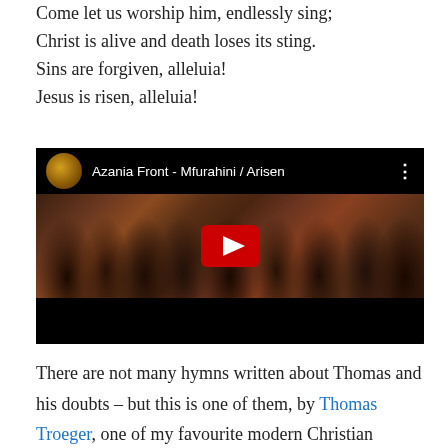Come let us worship him, endlessly sing;
Christ is alive and death loses its sting.
Sins are forgiven, alleluia!
Jesus is risen, alleluia!
[Figure (screenshot): YouTube video embed showing 'Azania Front - Mfurahini / Arisen' with a group of people seated, a red YouTube play button in the center, and a circular thumbnail of a sun/tree image.]
There are not many hymns written about Thomas and his doubts – but this is one of them, by Thomas Troeger, one of my favourite modern Christian lyricists.